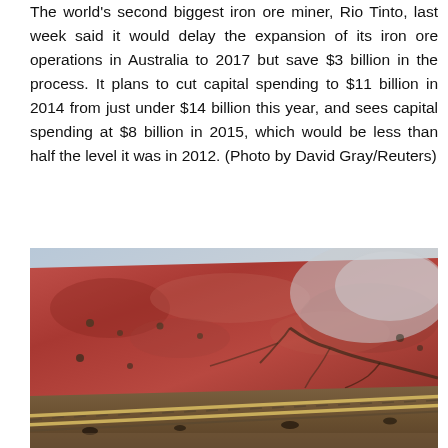The world's second biggest iron ore miner, Rio Tinto, last week said it would delay the expansion of its iron ore operations in Australia to 2017 but save $3 billion in the process. It plans to cut capital spending to $11 billion in 2014 from just under $14 billion this year, and sees capital spending at $8 billion in 2015, which would be less than half the level it was in 2012. (Photo by David Gray/Reuters)
[Figure (photo): Aerial photograph of iron ore mining region in Australia showing red desert landscape with a railway track cutting diagonally across the image, reddish-brown earth and dry riverbeds visible.]